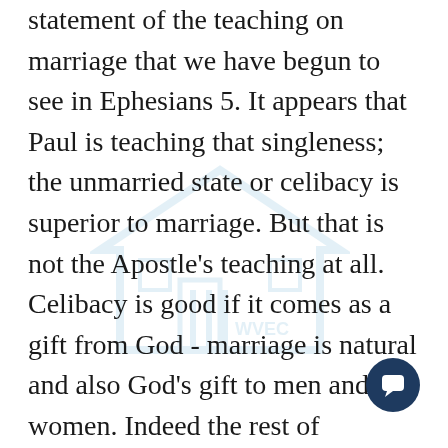statement of the teaching on marriage that we have begun to see in Ephesians 5. It appears that Paul is teaching that singleness; the unmarried state or celibacy is superior to marriage. But that is not the Apostle's teaching at all. Celibacy is good if it comes as a gift from God - marriage is natural and also God's gift to men and women. Indeed the rest of scripture tells us that marriage and family life is the oldest, most basic and fundamental institution in society. The church in its formal sense, and the state as a formal institution were not yet in existence when God brought the family into being. God ordained